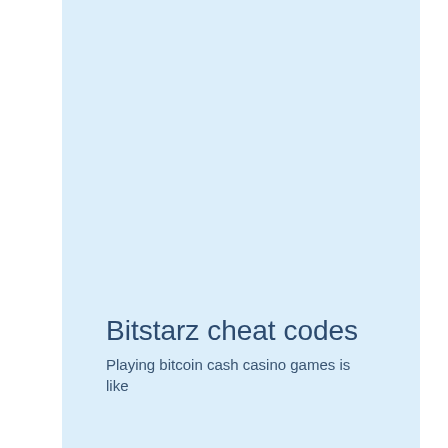Bitstarz cheat codes
Playing bitcoin cash casino games is like